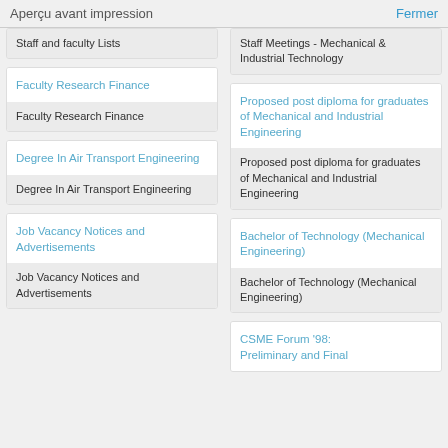Aperçu avant impression    Fermer
Staff and faculty Lists
Staff Meetings - Mechanical & Industrial Technology
Faculty Research Finance
Faculty Research Finance
Proposed post diploma for graduates of Mechanical and Industrial Engineering
Proposed post diploma for graduates of Mechanical and Industrial Engineering
Degree In Air Transport Engineering
Degree In Air Transport Engineering
Bachelor of Technology (Mechanical Engineering)
Bachelor of Technology (Mechanical Engineering)
Job Vacancy Notices and Advertisements
Job Vacancy Notices and Advertisements
CSME Forum '98: Preliminary and Final